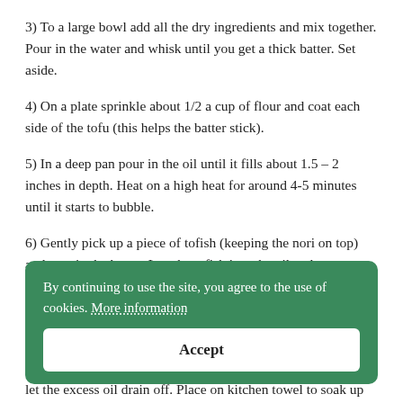3) To a large bowl add all the dry ingredients and mix together. Pour in the water and whisk until you get a thick batter. Set aside.
4) On a plate sprinkle about 1/2 a cup of flour and coat each side of the tofu (this helps the batter stick).
5) In a deep pan pour in the oil until it fills about 1.5 – 2 inches in depth. Heat on a high heat for around 4-5 minutes until it starts to bubble.
6) Gently pick up a piece of tofish (keeping the nori on top) and coat in the batter. Lay the tofish into the oil and repeat with the other portions.
By continuing to use the site, you agree to the use of cookies. More information
Accept
7) ... side ... golden and crisp. If it doesn't look like the video you can cook for a bit longer.
8) ... remove each piece from the pan and let the excess oil drain off. Place on kitchen towel to soak up